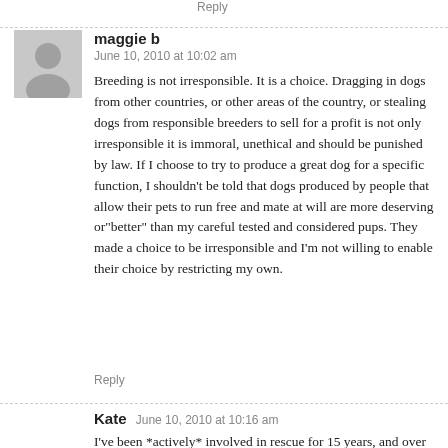Reply
maggie b
June 10, 2010 at 10:02 am
Breeding is not irresponsible. It is a choice. Dragging in dogs from other countries, or other areas of the country, or stealing dogs from responsible breeders to sell for a profit is not only irresponsible it is immoral, unethical and should be punished by law. If I choose to try to produce a great dog for a specific function, I shouldn't be told that dogs produced by people that allow their pets to run free and mate at will are more deserving or"better" than my careful tested and considered pups. They made a choice to be irresponsible and I'm not willing to enable their choice by restricting my own.
Reply
Kate
June 10, 2010 at 10:16 am
I've been *actively* involved in rescue for 15 years, and over that time have taken in, placed in foster care, vetted